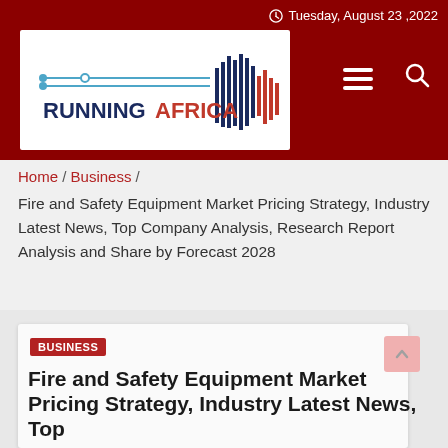Tuesday, August 23 ,2022
[Figure (logo): RunningAfrica logo with blue signal lines and red/navy striped Africa continent silhouette, text RUNNINGAFRICA in bold navy/red]
Home / Business /
Fire and Safety Equipment Market Pricing Strategy, Industry Latest News, Top Company Analysis, Research Report Analysis and Share by Forecast 2028
BUSINESS
Fire and Safety Equipment Market Pricing Strategy, Industry Latest News, Top